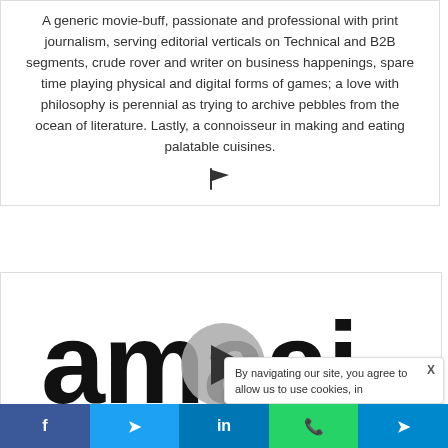A generic movie-buff, passionate and professional with print journalism, serving editorial verticals on Technical and B2B segments, crude rover and writer on business happenings, spare time playing physical and digital forms of games; a love with philosophy is perennial as trying to archive pebbles from the ocean of literature. Lastly, a connoisseur in making and eating palatable cuisines.
[Figure (logo): Flag/pennant icon in dark color]
[Figure (logo): Amaai logo in black bold rounded letters with a circular play button overlay in the center]
By navigating our site, you agree to allow us to use cookies, in